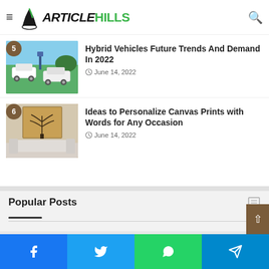ArticleHills
Hybrid Vehicles Future Trends And Demand In 2022
June 14, 2022
Ideas to Personalize Canvas Prints with Words for Any Occasion
June 14, 2022
Popular Posts
[Figure (photo): Plant on desk, popular posts thumbnail image]
Facebook Twitter WhatsApp Telegram social share buttons